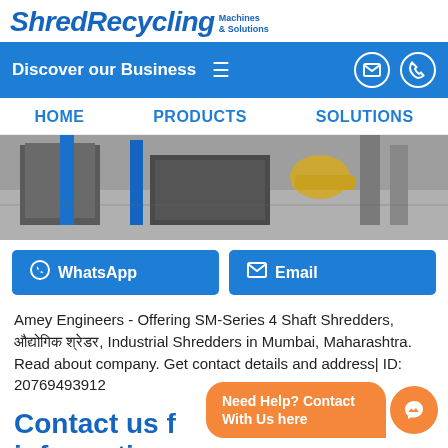ShredRecycling Machines & Solutions
Discover our Business
HOME   PRODUCTS   SOLUTIONS
[Figure (photo): Industrial shredder machinery in a factory setting, showing metal columns and conveyor equipment]
WhatsApp   Email
Amey Engineers - Offering SM-Series 4 Shaft Shredders, औद्योगिक श्रेडर, Industrial Shredders in Mumbai, Maharashtra. Read about company. Get contact details and address| ID: 20769493912
Contact us f… information
Need Help? Contact With Us here